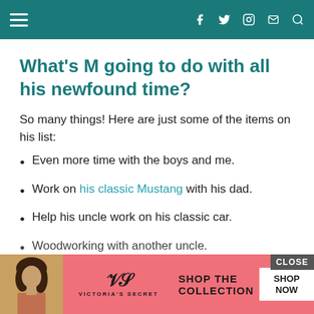Navigation header with hamburger menu and social icons (Facebook, Twitter, Instagram, Email, Search)
What’s M going to do with all his newfound time?
So many things! Here are just some of the items on his list:
Even more time with the boys and me.
Work on his classic Mustang with his dad.
Help his uncle work on his classic car.
Woodworking with another uncle.
[Figure (other): Victoria’s Secret advertisement banner with model photo, VS logo, and 'SHOP THE COLLECTION / SHOP NOW' call to action with CLOSE button]